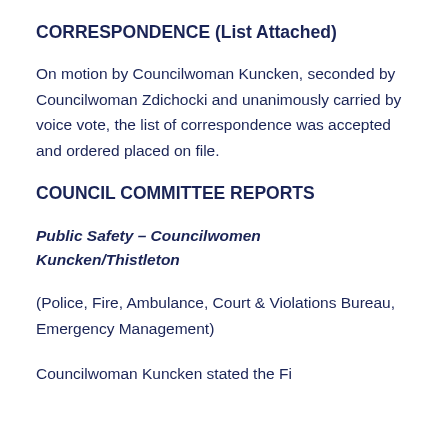CORRESPONDENCE (List Attached)
On motion by Councilwoman Kuncken, seconded by Councilwoman Zdichocki and unanimously carried by voice vote, the list of correspondence was accepted and ordered placed on file.
COUNCIL COMMITTEE REPORTS
Public Safety – Councilwomen Kuncken/Thistleton
(Police, Fire, Ambulance, Court & Violations Bureau, Emergency Management)
Councilwoman Kuncken stated the Fi...